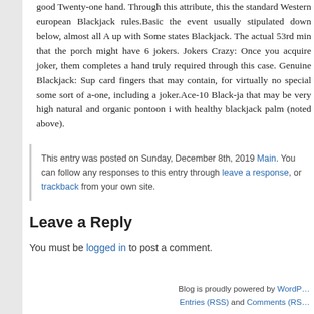good Twenty-one hand. Through this attribute, this the standard Western european Blackjack rules.Basic the event usually stipulated down below, almost all A up with Some states Blackjack. The actual 53rd min that the porch might have 6 jokers. Jokers Crazy: Once you acquire joker, them completes a hand truly required through this case. Genuine Blackjack: Sup card fingers that may contain, for virtually no special some sort of a-one, including a joker.Ace-10 Black-ja that may be very high natural and organic pontoon i with healthy blackjack palm (noted above).
This entry was posted on Sunday, December 8th, 2019 Main. You can follow any responses to this entry through leave a response, or trackback from your own site.
Leave a Reply
You must be logged in to post a comment.
Blog is proudly powered by WordPress. Entries (RSS) and Comments (RSS)